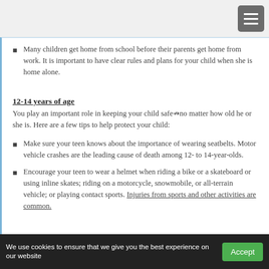Many children get home from school before their parents get home from work. It is important to have clear rules and plans for your child when she is home alone.
12-14 years of age
You play an important role in keeping your child safeâ€•no matter how old he or she is. Here are a few tips to help protect your child:
Make sure your teen knows about the importance of wearing seatbelts. Motor vehicle crashes are the leading cause of death among 12- to 14-year-olds.
Encourage your teen to wear a helmet when riding a bike or a skateboard or using inline skates; riding on a motorcycle, snowmobile, or all-terrain vehicle; or playing contact sports. Injuries from sports and other activities are common.
We use cookies to ensure that we give you the best experience on our website